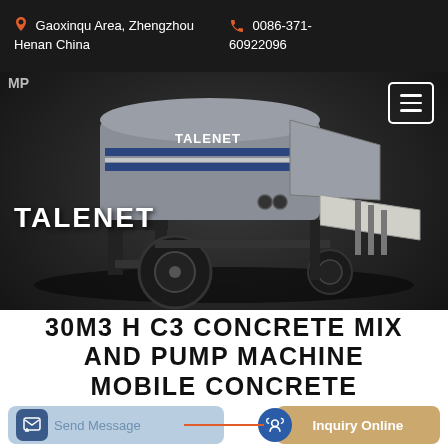📍 Gaoxinqu Area, Zhengzhou Henan China   📞 0086-371-60922096
[Figure (photo): A Talenet branded mobile concrete mix and pump machine on a dark background. The machine is gray with blue stripes and the Talenet logo. It has large black wheels and a hopper/chute on the right side.]
TALENET
30M3 H C3 CONCRETE MIX AND PUMP MACHINE MOBILE CONCRETE
Send Message
Inquiry Online